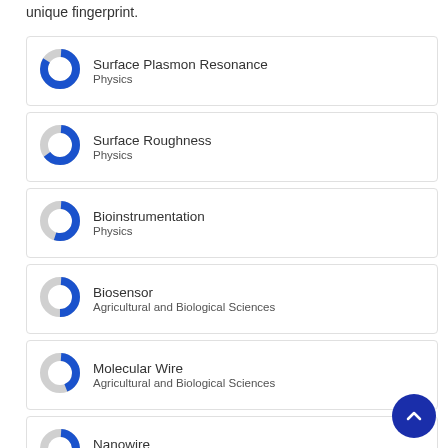unique fingerprint.
Surface Plasmon Resonance — Physics
Surface Roughness — Physics
Bioinstrumentation — Physics
Biosensor — Agricultural and Biological Sciences
Molecular Wire — Agricultural and Biological Sciences
Nanowire — Chemistry